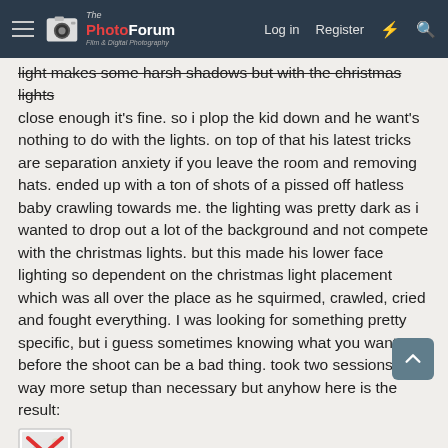ThePhotoForum — Log in | Register
light makes some harsh shadows but with the christmas lights close enough it's fine. so i plop the kid down and he want's nothing to do with the lights. on top of that his latest tricks are separation anxiety if you leave the room and removing hats. ended up with a ton of shots of a pissed off hatless baby crawling towards me. the lighting was pretty dark as i wanted to drop out a lot of the background and not compete with the christmas lights. but this made his lower face lighting so dependent on the christmas light placement which was all over the place as he squirmed, crawled, cried and fought everything. I was looking for something pretty specific, but i guess sometimes knowing what you want before the shoot can be a bad thing. took two sessions and way more setup than necessary but anyhow here is the result:
[Figure (other): Broken image placeholder icon — small image with red X overlay]
still not quite up to par with the test shots on the stuffed animal, but it was the best of the bunch. He rarely picked up the lights,